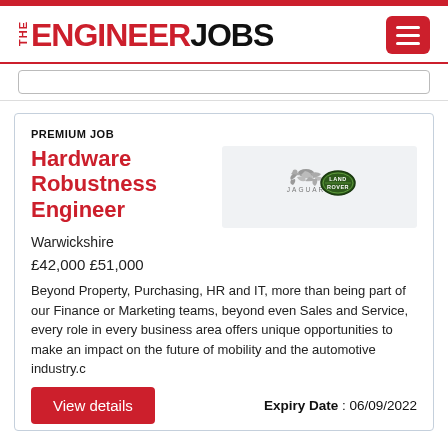THE ENGINEER JOBS
PREMIUM JOB
Hardware Robustness Engineer
[Figure (logo): Jaguar Land Rover combined logo — Jaguar leaping cat with JAGUAR text, and Land Rover oval badge]
Warwickshire
£42,000 £51,000
Beyond Property, Purchasing, HR and IT, more than being part of our Finance or Marketing teams, beyond even Sales and Service, every role in every business area offers unique opportunities to make an impact on the future of mobility and the automotive industry.c
Expiry Date : 06/09/2022
View details